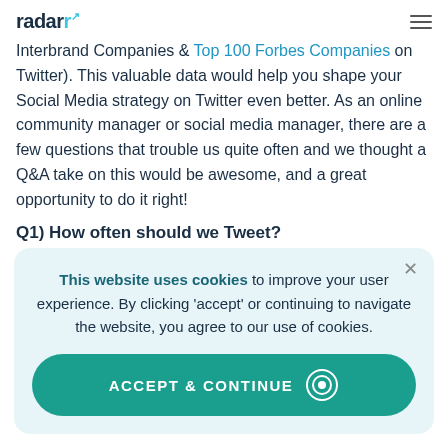radarr
Interbrand Companies & Top 100 Forbes Companies on Twitter). This valuable data would help you shape your Social Media strategy on Twitter even better. As an online community manager or social media manager, there are a few questions that trouble us quite often and we thought a Q&A take on this would be awesome, and a great opportunity to do it right!
Q1) How often should we Tweet?
This website uses cookies to improve your user experience. By clicking 'accept' or continuing to navigate the website, you agree to our use of cookies.